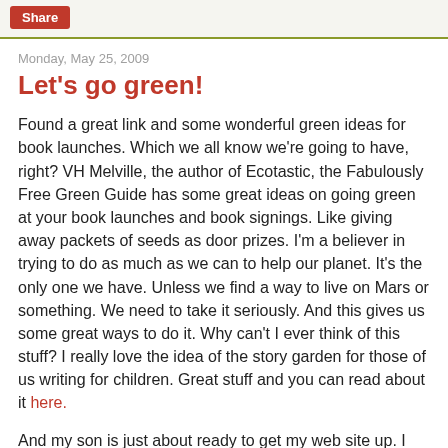Share
Monday, May 25, 2009
Let's go green!
Found a great link and some wonderful green ideas for book launches. Which we all know we're going to have, right? VH Melville, the author of Ecotastic, the Fabulously Free Green Guide has some great ideas on going green at your book launches and book signings. Like giving away packets of seeds as door prizes. I'm a believer in trying to do as much as we can to help our planet. It's the only one we have. Unless we find a way to live on Mars or something. We need to take it seriously. And this gives us some great ways to do it. Why can't I ever think of this stuff? I really love the idea of the story garden for those of us writing for children. Great stuff and you can read about it here.
And my son is just about ready to get my web site up. I have seen it and it looks GREAT! Can't wait for y'all to tell me what you think about it. Have a great Memorial day grilling